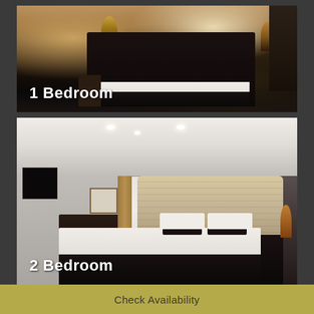[Figure (photo): Hotel room photo showing a luxury 1 bedroom with dark furnishings, black bedding, white pillows, and warm lighting]
1 Bedroom
[Figure (photo): Hotel room photo showing a spacious 2 bedroom with tufted cream headboard, dark accent wall, TV, desk, and large window]
2 Bedroom
Check Availability